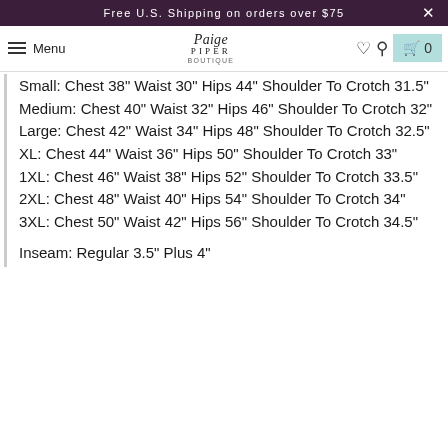Free U.S. Shipping on orders over $75
Small: Chest 38" Waist 30" Hips 44" Shoulder To Crotch 31.5"
Medium: Chest 40" Waist 32" Hips 46" Shoulder To Crotch 32"
Large: Chest 42" Waist 34" Hips 48" Shoulder To Crotch 32.5"
XL: Chest 44" Waist 36" Hips 50" Shoulder To Crotch 33"
1XL: Chest 46" Waist 38" Hips 52" Shoulder To Crotch 33.5"
2XL: Chest 48" Waist 40" Hips 54" Shoulder To Crotch 34"
3XL: Chest 50" Waist 42" Hips 56" Shoulder To Crotch 34.5"
Inseam: Regular 3.5" Plus 4"